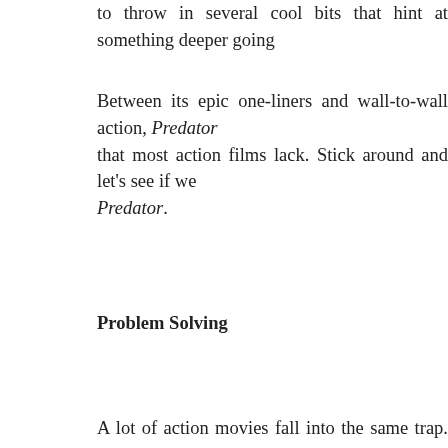to throw in several cool bits that hint at something deeper going
Between its epic one-liners and wall-to-wall action, Predator that most action films lack. Stick around and let's see if we Predator.
Problem Solving
A lot of action movies fall into the same trap. They set up an in to explore all of its ramifications. For example, Goldeneye bri Bond having to fight an old friend – one who knows everything operate. How does Bond respond to this challenge? By doing change his way of thinking or pattern of behavior to throw o always does and hopes for the best. The villain even calls him not enough to convince him to try something different.
Predator, though, does something brilliant. It throws a bunch o movie characters into a similar setup as the original Alien fil they're being targeted one by one by an alien being, and it s